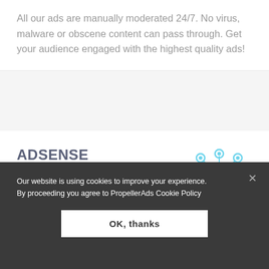All our ads are manually moderated 24/7. No virus, malware or obscene content can pass through. Get your audience engaged with the highest quality ads!
ADSENSE COMPATIBLE
[Figure (illustration): Light blue network/hub icon with a central circle containing a checkmark, connected by lines to eight surrounding node circles]
Our ad formats fit any monetization strategy and any other ad network. Boost your profits even if
Our website is using cookies to improve your experience. By proceeding you agree to PropellerAds Cookie Policy
OK, thanks